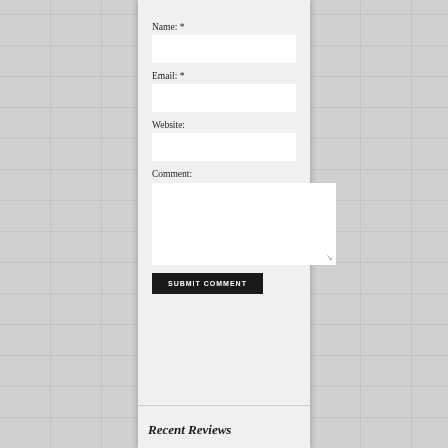Name: *
Email: *
Website:
Comment:
SUBMIT COMMENT
Recent Reviews